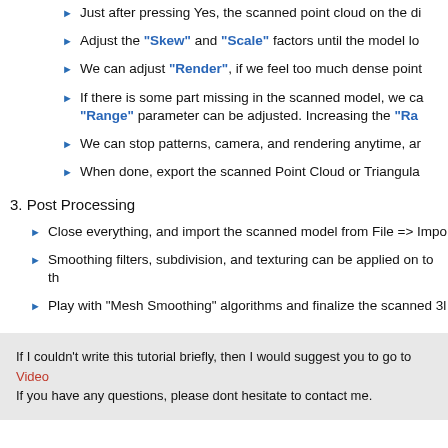Just after pressing Yes, the scanned point cloud on the di
Adjust the "Skew" and "Scale" factors until the model lo
We can adjust "Render", if we feel too much dense point
If there is some part missing in the scanned model, we ca "Range" parameter can be adjusted. Increasing the "Ra
We can stop patterns, camera, and rendering anytime, ar
When done, export the scanned Point Cloud or Triangula
3. Post Processing
Close everything, and import the scanned model from File => Impo
Smoothing filters, subdivision, and texturing can be applied on to th
Play with "Mesh Smoothing" algorithms and finalize the scanned 3l
If I couldn't write this tutorial briefly, then I would suggest you to go to Video If you have any questions, please dont hesitate to contact me.